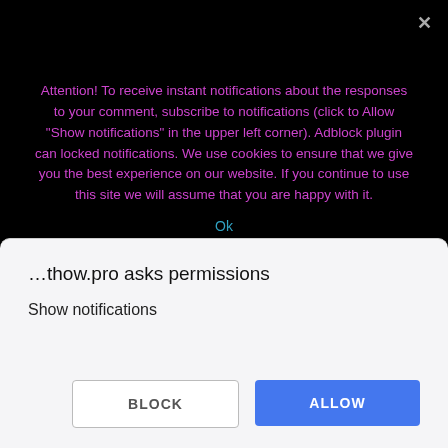Attention! To receive instant notifications about the responses to your comment, subscribe to notifications (click to Allow "Show notifications" in the upper left corner). Adblock plugin can locked notifications. We use cookies to ensure that we give you the best experience on our website. If you continue to use this site we will assume that you are happy with it.
Ok
recommend reading the article.
[Figure (other): Blue glossy DONATE button with MasterCard, VISA, American Express, and Discover payment icons below]
…thow.pro asks permissions
Show notifications
BLOCK
ALLOW